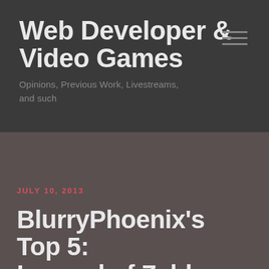Web Developer & Video Games
Opinions, Previous Work, Livestreams, and such
JULY 10, 2013
BlurryPhoenix's Top 5: Legend of Zelda Games